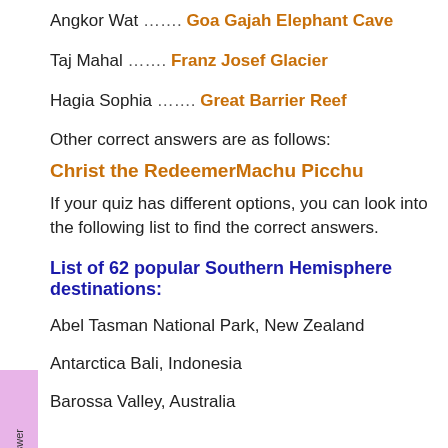Angkor Wat ........ Goa Gajah Elephant Cave
Taj Mahal ........ Franz Josef Glacier
Hagia Sophia ........ Great Barrier Reef
Other correct answers are as follows:
Christ the RedeemerMachu Picchu
If your quiz has different options, you can look into the following list to find the correct answers.
List of 62 popular Southern Hemisphere destinations:
Abel Tasman National Park, New Zealand
Antarctica Bali, Indonesia
Barossa Valley, Australia